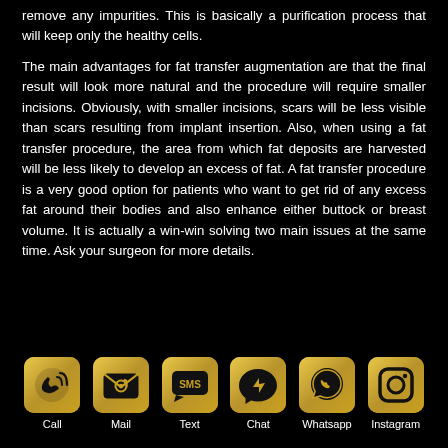remove any impurities. This is basically a purification process that will keep only the healthy cells.

The main advantages for fat transfer augmentation are that the final result will look more natural and the procedure will require smaller incisions. Obviously, with smaller incisions, scars will be less visible than scars resulting from implant insertion. Also, when using a fat transfer procedure, the area from which fat deposits are harvested will be less likely to develop an excess of fat. A fat transfer procedure is a very good option for patients who want to get rid of any excess fat around their bodies and also enhance either buttock or breast volume. It is actually a win-win solving two main issues at the same time. Ask your surgeon for more details.
[Figure (infographic): Six contact/social icons arranged horizontally: Call (phone), Mail (envelope), Text (SMS), Chat (Messenger), Whatsapp, Instagram — each a gold rounded-square icon with black symbol and white label beneath]